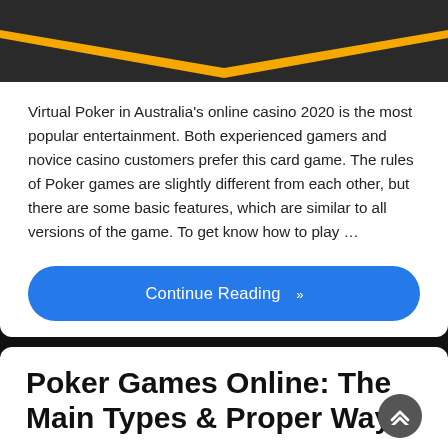[Figure (photo): Casino/poker themed photo with orange chevron divider at the bottom, partially visible at top of first card]
Virtual Poker in Australia's online casino 2020 is the most popular entertainment. Both experienced gamers and novice casino customers prefer this card game. The rules of Poker games are slightly different from each other, but there are some basic features, which are similar to all versions of the game. To get know how to play …
Continue Reading »
Poker Games Online: The Main Types & Proper Way